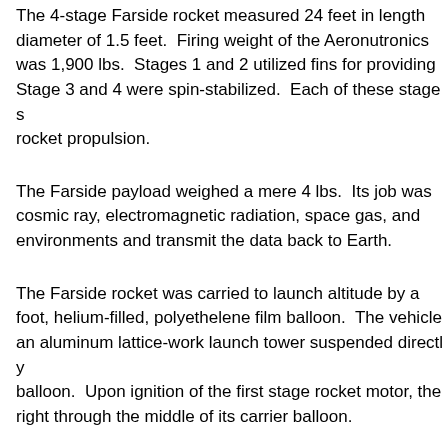The 4-stage Farside rocket measured 24 feet in length diameter of 1.5 feet. Firing weight of the Aeronutronics was 1,900 lbs. Stages 1 and 2 utilized fins for providin Stage 3 and 4 were spin-stabilized. Each of these stag rocket propulsion.
The Farside payload weighed a mere 4 lbs. Its job was cosmic ray, electromagnetic radiation, space gas, and environments and transmit the data back to Earth.
The Farside rocket was carried to launch altitude by a foot, helium-filled, polyethelene film balloon. The vehi an aluminum lattice-work launch tower suspended dire balloon. Upon ignition of the first stage rocket motor, th right through the middle of its carrier balloon.
There were six (6) shots in the Operation Fireside test vehicle was launched on Wednesday, 25 September 1